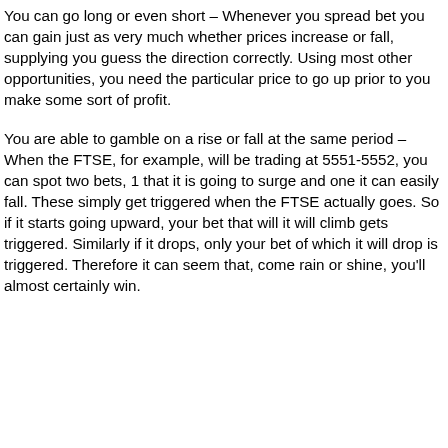You can go long or even short – Whenever you spread bet you can gain just as very much whether prices increase or fall, supplying you guess the direction correctly. Using most other opportunities, you need the particular price to go up prior to you make some sort of profit.
You are able to gamble on a rise or fall at the same period – When the FTSE, for example, will be trading at 5551-5552, you can spot two bets, 1 that it is going to surge and one it can easily fall. These simply get triggered when the FTSE actually goes. So if it starts going upward, your bet that will it will climb gets triggered. Similarly if it drops, only your bet of which it will drop is triggered. Therefore it can seem that, come rain or shine, you'll almost certainly win.